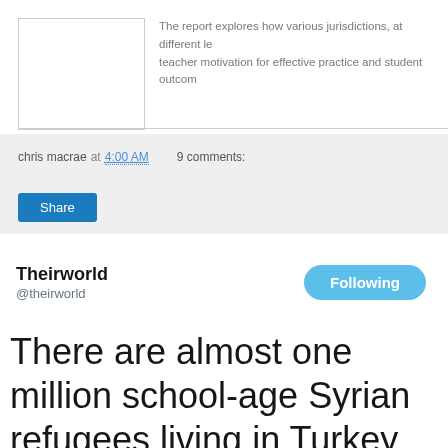The report explores how various jurisdictions, at different le... teacher motivation for effective practice and student outcom...
chris macrae at 4:00 AM   9 comments:
[Figure (screenshot): Share button (blue rounded rectangle)]
Theirworld @theirworld
[Figure (screenshot): Following button (blue rounded pill)]
There are almost one million school-age Syrian refugees living in Turkey. Since 2011, Turkey has spent $30 billion on the refugee